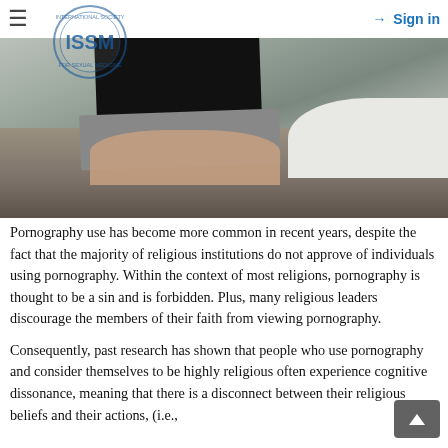≡   Sign in
[Figure (photo): Person using a laptop computer while sitting in bed covered with blankets and white sheets. An ISSM circular logo watermark is visible on the image.]
Pornography use has become more common in recent years, despite the fact that the majority of religious institutions do not approve of individuals using pornography. Within the context of most religions, pornography is thought to be a sin and is forbidden. Plus, many religious leaders discourage the members of their faith from viewing pornography.
Consequently, past research has shown that people who use pornography and consider themselves to be highly religious often experience cognitive dissonance, meaning that there is a disconnect between their religious beliefs and their actions, (i.e.,